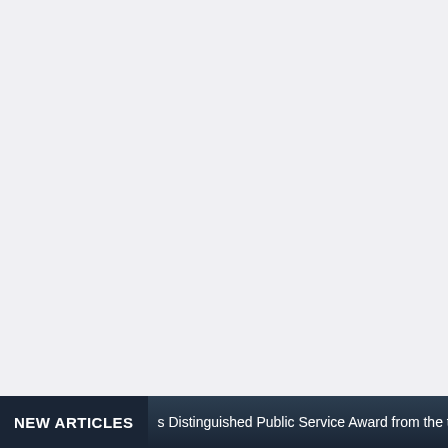NEW ARTICLES  s Distinguished Public Service Award from the …